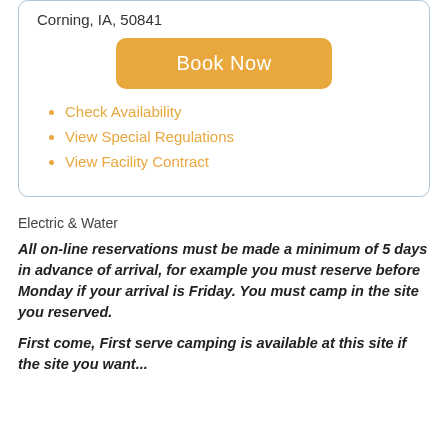Corning, IA, 50841
Book Now
Check Availability
View Special Regulations
View Facility Contract
Electric & Water
All on-line reservations must be made a minimum of 5 days in advance of arrival, for example you must reserve before Monday if your arrival is Friday. You must camp in the site you reserved.
First come, First serve camping is available at this site if the site you want...